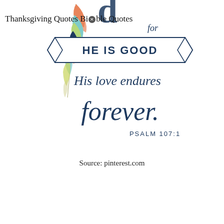[Figure (illustration): Hand-lettered Bible verse illustration with colorful feather decoration on the left. Text reads: 'for HE IS GOOD His love endures forever. PSALM 107:1'. The top of the image shows partial large letters. A decorative ribbon/banner contains 'HE IS GOOD'. Script lettering for the remaining text in navy blue.]
Source: pinterest.com
Pin By Louann Millard On Word Of God
Thanksgiving Quotes Bible Quotes